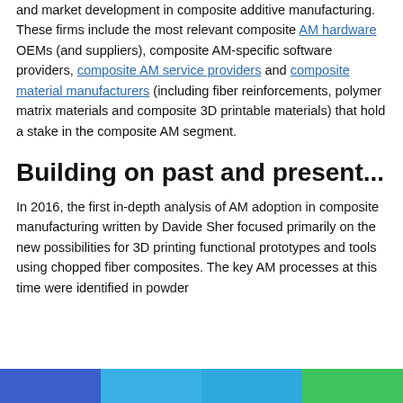and market development in composite additive manufacturing. These firms include the most relevant composite AM hardware OEMs (and suppliers), composite AM-specific software providers, composite AM service providers and composite material manufacturers (including fiber reinforcements, polymer matrix materials and composite 3D printable materials) that hold a stake in the composite AM segment.
Building on past and present...
In 2016, the first in-depth analysis of AM adoption in composite manufacturing written by Davide Sher focused primarily on the new possibilities for 3D printing functional prototypes and tools using chopped fiber composites. The key AM processes at this time were identified in powder